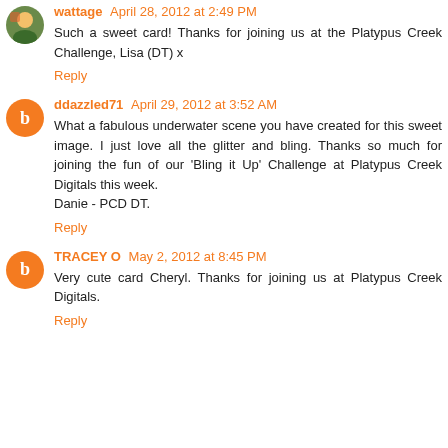wattage April 28, 2012 at 2:49 PM
Such a sweet card! Thanks for joining us at the Platypus Creek Challenge, Lisa (DT) x
Reply
ddazzled71 April 29, 2012 at 3:52 AM
What a fabulous underwater scene you have created for this sweet image. I just love all the glitter and bling. Thanks so much for joining the fun of our 'Bling it Up' Challenge at Platypus Creek Digitals this week.
Danie - PCD DT.
Reply
TRACEY O May 2, 2012 at 8:45 PM
Very cute card Cheryl. Thanks for joining us at Platypus Creek Digitals.
Reply